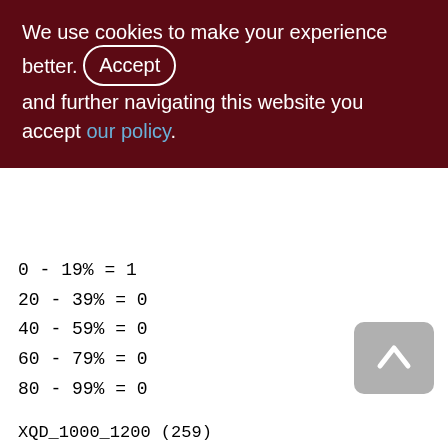We use cookies to make your experience better. By accepting and further navigating this website you accept our policy.
0 - 19% = 1
20 - 39% = 0
40 - 59% = 0
60 - 79% = 0
80 - 99% = 0
XQD_1000_1200 (259)
Primary pointer page: 254, Index root page: 284
Total formats: 1, used formats: 1
Average record length: 0.89, total records: 206168
Average version length: 70.10, total